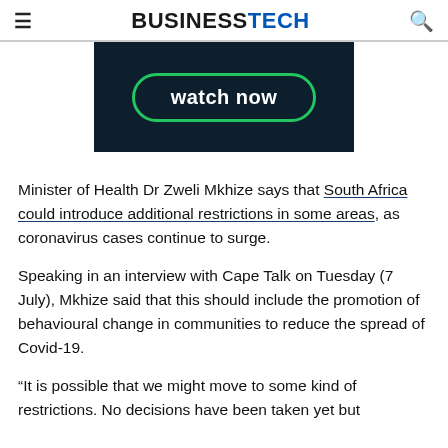BUSINESSTECH
[Figure (screenshot): Dark video thumbnail with a green-bordered button reading 'watch now' in white bold text on a dark navy/black background.]
Minister of Health Dr Zweli Mkhize says that South Africa could introduce additional restrictions in some areas, as coronavirus cases continue to surge.
Speaking in an interview with Cape Talk on Tuesday (7 July), Mkhize said that this should include the promotion of behavioural change in communities to reduce the spread of Covid-19.
“It is possible that we might move to some kind of restrictions. No decisions have been taken yet but